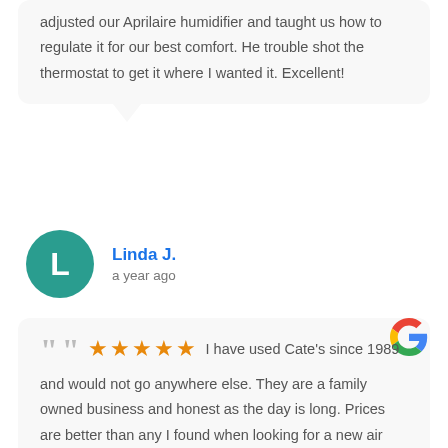adjusted our Aprilaire humidifier and taught us how to regulate it for our best comfort. He trouble shot the thermostat to get it where I wanted it. Excellent!
Linda J.
a year ago
I have used Cate's since 1989 and would not go anywhere else. They are a family owned business and honest as the day is long. Prices are better than any I found when looking for a new air conditioner. I give them full 5